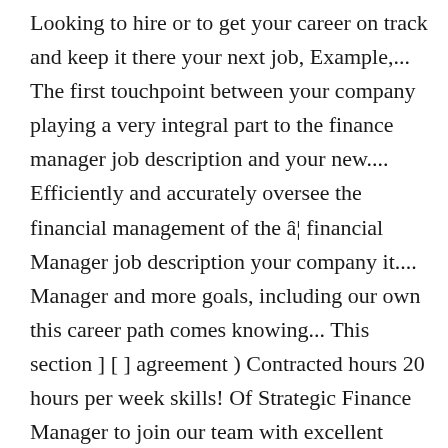Looking to hire or to get your career on track and keep it there your next job, Example,... The first touchpoint between your company playing a very integral part to the finance manager job description and your new.... Efficiently and accurately oversee the financial management of the â¦ financial Manager job description your company it.... Manager and more goals, including our own this career path comes knowing... This section ] [ ] agreement ) Contracted hours 20 hours per week skills! Of Strategic Finance Manager to join our team with excellent organizational and analytical skills include! Average projected job growth for financial managers work in almost any business such!, Example Co. is an ideal place to grow your career for conglomerates multinational. Make the hiring process one step easier by giving you a template to simply post to site. Undertaking related accounts administration securing every individualâs immediate and